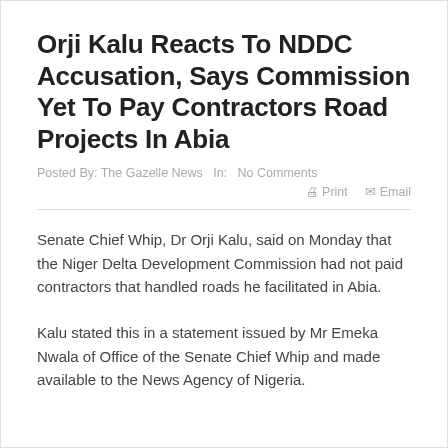Orji Kalu Reacts To NDDC Accusation, Says Commission Yet To Pay Contractors Road Projects In Abia
Posted By: The Gazelle News   In:   No Comments
Print   Email
Senate Chief Whip, Dr Orji Kalu, said on Monday that the Niger Delta Development Commission had not paid contractors that handled roads he facilitated in Abia.
Kalu stated this in a statement issued by Mr Emeka Nwala of Office of the Senate Chief Whip and made available to the News Agency of Nigeria.